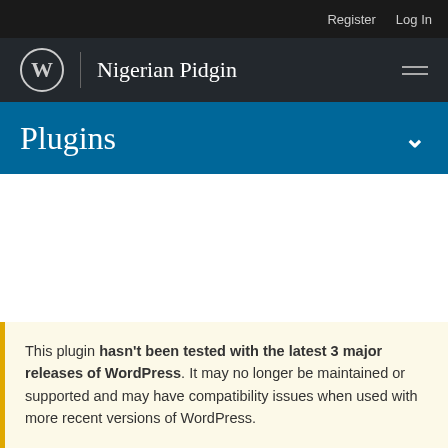Register  Log In
Nigerian Pidgin
Plugins
This plugin hasn't been tested with the latest 3 major releases of WordPress. It may no longer be maintained or supported and may have compatibility issues when used with more recent versions of WordPress.